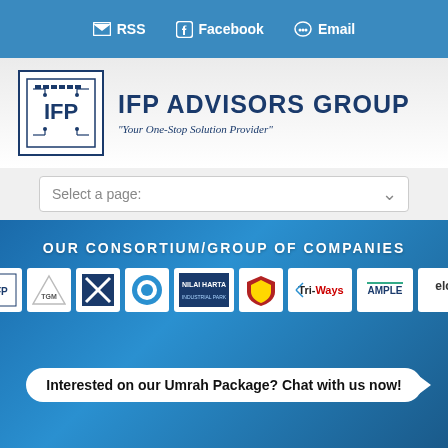RSS | Facebook | Email
[Figure (logo): IFP Advisors Group logo with circuit board square icon and text 'IFP ADVISORS GROUP - Your One-Stop Solution Provider']
Select a page:
OUR CONSORTIUM/GROUP OF COMPANIES
[Figure (logo): Row of consortium company logos: IFP, TGM, cross/diamond logo, circular logo, Nilai Harta, shield logo, Tri-Ways, Ample, ELO]
Interested on our Umrah Package? Chat with us now!
Scroll to Top
Home | About Us | Group Synergy | Key Personnels/Management Members & Directors | Contact Us